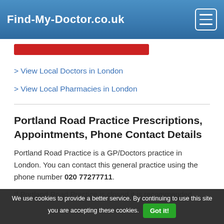Find-My-Doctor.co.uk
> View Local Doctors in London
> View Local Pharmacies in London
Portland Road Practice Prescriptions, Appointments, Phone Contact Details
Portland Road Practice is a GP/Doctors practice in London. You can contact this general practice using the phone number 020 77277711.
If Portland Road Practice is closed it is recommended...
We use cookies to provide a better service. By continuing to use this site you are accepting these cookies. Got it!